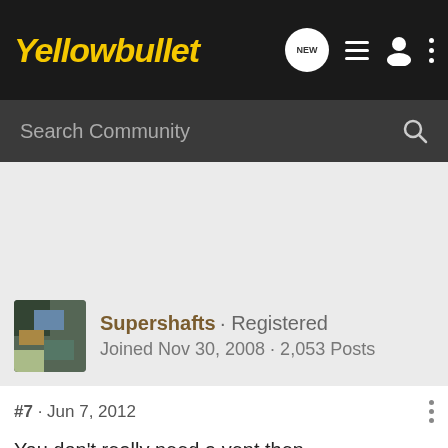Yellowbullet
Search Community
Supershafts · Registered
Joined Nov 30, 2008 · 2,053 Posts
#7 · Jun 7, 2012
You don't really need a vent then
[Figure (screenshot): Advertisement banner with dark blue background]